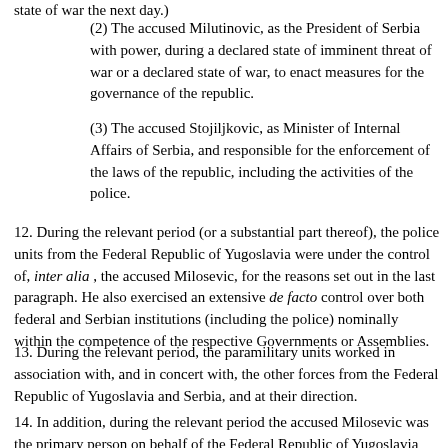state of war the next day.)
(2) The accused Milutinovic, as the President of Serbia with power, during a declared state of imminent threat of war or a declared state of war, to enact measures for the governance of the republic.
(3) The accused Stojiljkovic, as Minister of Internal Affairs of Serbia, and responsible for the enforcement of the laws of the republic, including the activities of the police.
12. During the relevant period (or a substantial part thereof), the police units from the Federal Republic of Yugoslavia were under the control of, inter alia, the accused Milosevic, for the reasons set out in the last paragraph. He also exercised an extensive de facto control over both federal and Serbian institutions (including the police) nominally within the competence of the respective Governments or Assemblies.
13. During the relevant period, the paramilitary units worked in association with, and in concert with, the other forces from the Federal Republic of Yugoslavia and Serbia, and at their direction.
14. In addition, during the relevant period the accused Milosevic was the primary person on behalf of the Federal Republic of Yugoslavia and Serbia with whom the international community had